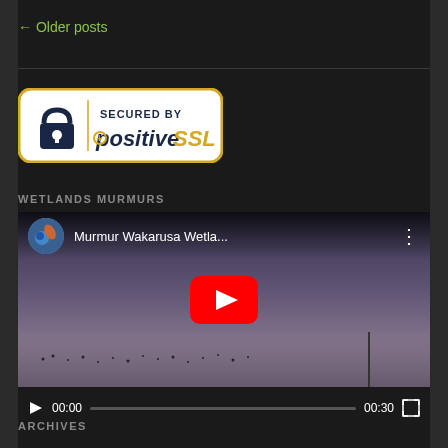← Older posts
[Figure (logo): Secured by positiveSSL badge — white rounded rectangle with gold border, padlock icon, and positiveSSL text]
WETLANDS MURMURS
[Figure (screenshot): YouTube video player screenshot showing 'Murmur Wakarusa Wetla...' with a bird flock over wetland background, red YouTube play button, and video controls showing 00:00 / 00:30]
ARCHIVES